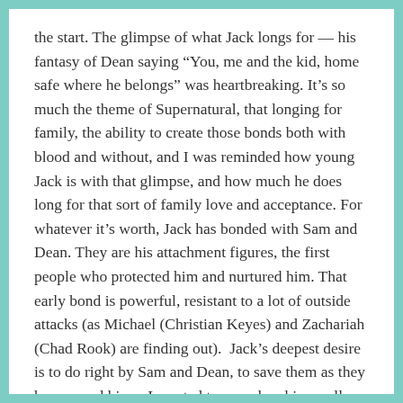the start. The glimpse of what Jack longs for — his fantasy of Dean saying “You, me and the kid, home safe where he belongs” was heartbreaking. It’s so much the theme of Supernatural, that longing for family, the ability to create those bonds both with blood and without, and I was reminded how young Jack is with that glimpse, and how much he does long for that sort of family love and acceptance. For whatever it’s worth, Jack has bonded with Sam and Dean. They are his attachment figures, the first people who protected him and nurtured him. That early bond is powerful, resistant to a lot of outside attacks (as Michael (Christian Keyes) and Zachariah (Chad Rook) are finding out). Jack’s deepest desire is to do right by Sam and Dean, to save them as they have saved him – I wanted to cry when his cruelly manipulated